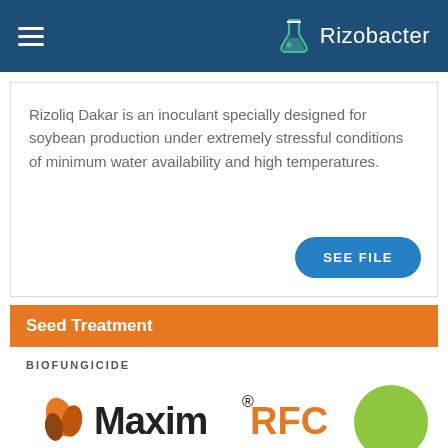Rizobacter
Rizoliq Dakar is an inoculant specially designed for soybean production under extremely stressful conditions of minimum water availability and high temperatures.
SEE FILE
Seed Treatment
BIOFUNGICIDE
[Figure (logo): Maxim RFC logo with orange flame/leaf icon and text 'Maxim RFC']